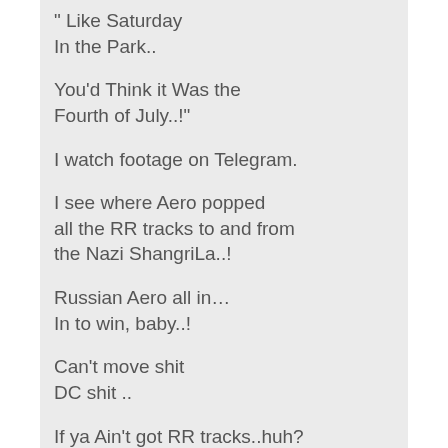" Like Saturday
In the Park..
You'd Think it Was the
Fourth of July..!"
I watch footage on Telegram.
I see where Aero popped
all the RR tracks to and from
the Nazi ShangriLa..!
Russian Aero all in…
In to win, baby..!
Can't move shit
DC shit ..
If ya Ain't got RR tracks..huh?
Bout half the shit going straight to Russia..
On Putin's
Friends and Family Program